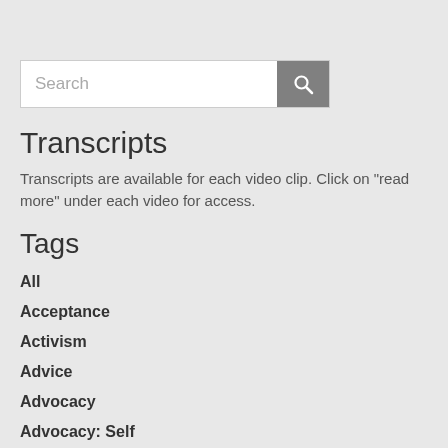Transcripts
Transcripts are available for each video clip.  Click on "read more" under each video for access.
Tags
All
Acceptance
Activism
Advice
Advocacy
Advocacy: Self
Advocacy: Trans
Allies
Arts